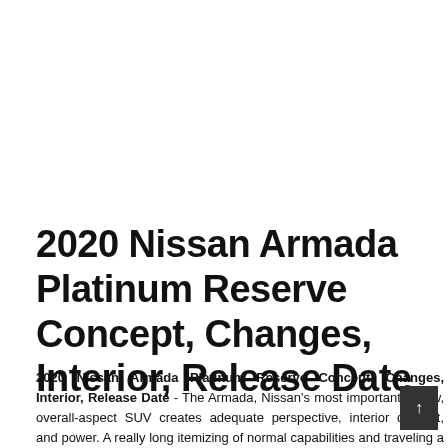2020 Nissan Armada Platinum Reserve Concept, Changes, Interior, Release Date
2020 Nissan Armada Platinum Reserve Concept, Changes, Interior, Release Date - The Armada, Nissan's most important, 3-row, overall-aspect SUV creates adequate perspective, interior comfort, and power. A really long itemizing of normal capabilities and traveling a vehicle quality better than on several competitors are also a significant component of this model.